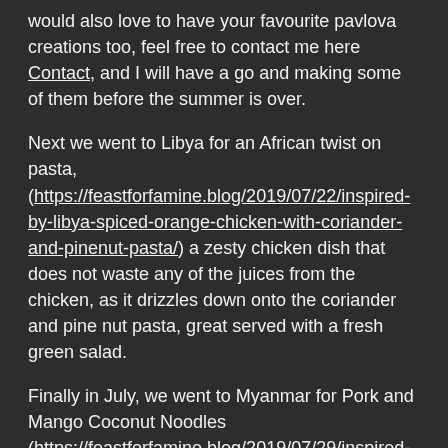would also love to have your favourite pavlova creations too, feel free to contact me here Contact, and I will have a go and making some of them before the summer is over.
Next we went to Libya for an African twist on pasta, (https://feastforfamine.blog/2019/07/22/inspired-by-libya-spiced-orange-chicken-with-coriander-and-pinenut-pasta/) a zesty chicken dish that does not waste any of the juices from the chicken, as it drizzles down onto the coriander and pine nut pasta, great served with a fresh green salad.
Finally in July, we went to Myanmar for Pork and Mango Coconut Noodles (https://feastforfamine.blog/2019/07/29/inspired-by-myanmar-pork-and-mango-coconut-noodles/), you can use up any other left over meats you have from your Sunday Roast, but they have a saying in Myanmar